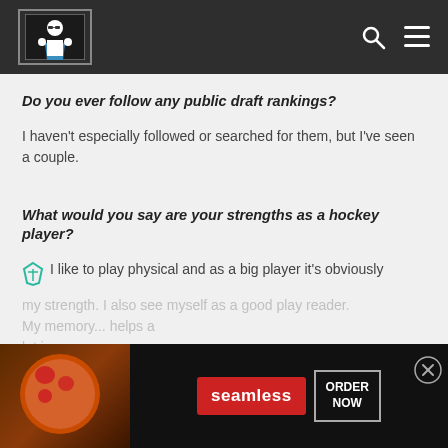Navigation header with logo, search and menu icons
Do you ever follow any public draft rankings?
I haven't especially followed or searched for them, but I've seen a couple.
What would you say are your strengths as a hockey player?
I like to play physical and as a big player it's obviously my strength. I also see myself as a good play reader. My memory... helps a lot in...
[Figure (other): Seamless food delivery advertisement banner with pizza image, Seamless brand name in red, and ORDER NOW button]